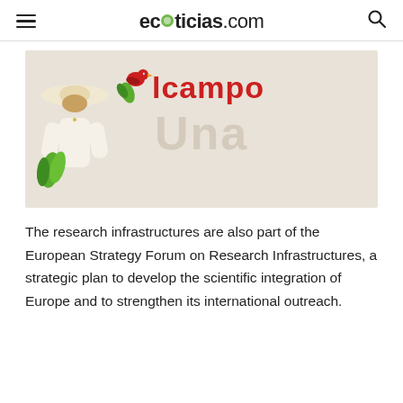ecoticias.com
[Figure (photo): Alcampo brand advertisement image showing a woman with a hat holding green vegetables, with Alcampo logo and faint watermark text on a beige background]
The research infrastructures are also part of the European Strategy Forum on Research Infrastructures, a strategic plan to develop the scientific integration of Europe and to strengthen its international outreach.